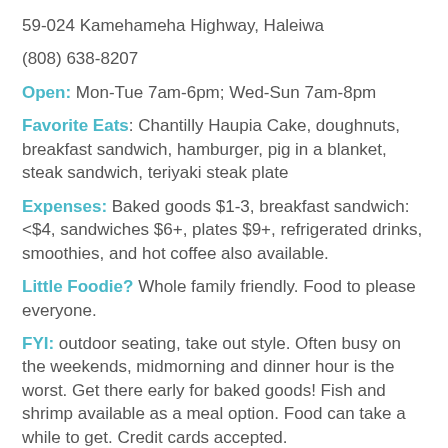59-024 Kamehameha Highway, Haleiwa
(808) 638-8207
Open: Mon-Tue 7am-6pm; Wed-Sun 7am-8pm
Favorite Eats: Chantilly Haupia Cake, doughnuts, breakfast sandwich, hamburger, pig in a blanket, steak sandwich, teriyaki steak plate
Expenses: Baked goods $1-3, breakfast sandwich: <$4, sandwiches $6+, plates $9+, refrigerated drinks, smoothies, and hot coffee also available.
Little Foodie? Whole family friendly. Food to please everyone.
FYI: outdoor seating, take out style. Often busy on the weekends, midmorning and dinner hour is the worst. Get there early for baked goods! Fish and shrimp available as a meal option. Food can take a while to get. Credit cards accepted.